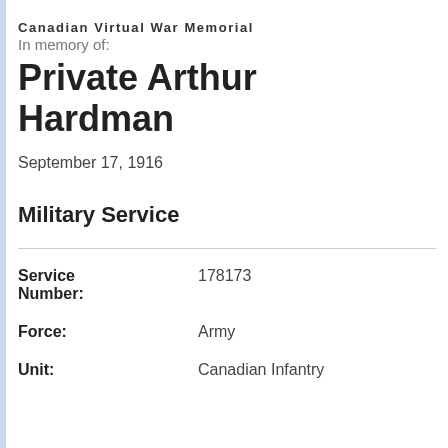Canadian Virtual War Memorial
In memory of:
Private Arthur Hardman
September 17, 1916
Military Service
| Field | Value |
| --- | --- |
| Service Number: | 178173 |
| Force: | Army |
| Unit: | Canadian Infantry |